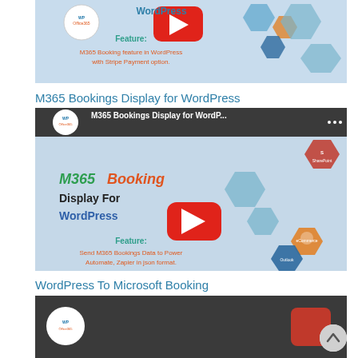[Figure (screenshot): YouTube video thumbnail for M365 Booking feature in WordPress with Stripe Payment option. Shows WPOffice365 logo, video title text, YouTube play button, hexagonal images of business people, and feature description text on light blue background.]
M365 Bookings Display for WordPress
[Figure (screenshot): YouTube video thumbnail for M365 Bookings Display for WordPress. Shows WPOffice365 logo, title 'M365 Booking Display For WordPress', YouTube play button, hexagonal images of business people, SharePoint icon, eCommerce and Outlook hexagons, and feature text: Send M365 Bookings Data to Power Automate, Zapier in json format. Light blue background.]
WordPress To Microsoft Booking
[Figure (screenshot): Partial YouTube video thumbnail for WordPress To Microsoft Booking, showing the bottom portion with WPOffice365 logo circle and a red element on dark background.]